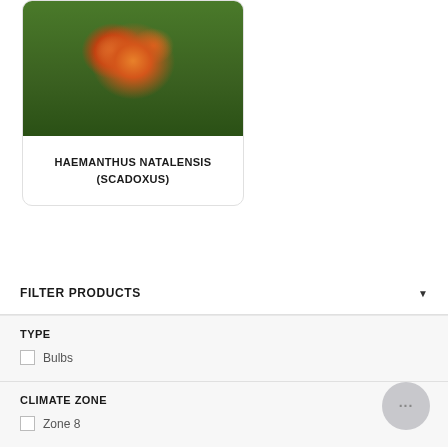[Figure (photo): Close-up photo of orange Haemanthus Natalensis (Scadoxus) flower with spiky orange blooms against green foliage background]
HAEMANTHUS NATALENSIS (SCADOXUS)
FILTER PRODUCTS
TYPE
Bulbs
CLIMATE ZONE
Zone 8